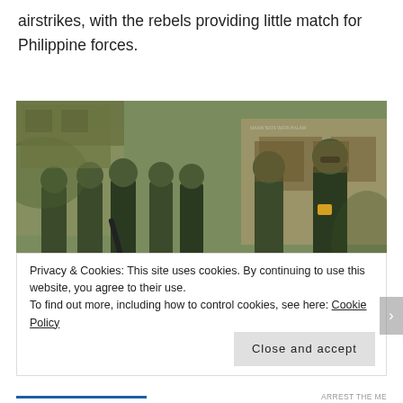airstrikes, with the rebels providing little match for Philippine forces.
[Figure (photo): Philippine military soldiers in camouflage uniforms standing in a group outdoors, examining equipment or documents, with buildings in the background.]
Privacy & Cookies: This site uses cookies. By continuing to use this website, you agree to their use.
To find out more, including how to control cookies, see here: Cookie Policy
Close and accept